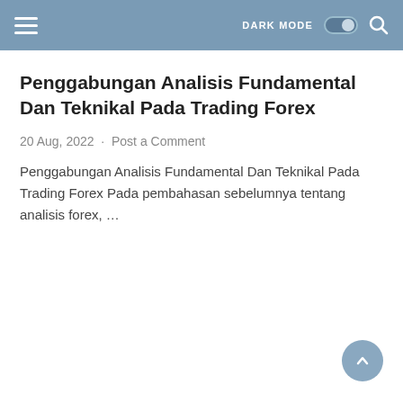DARK MODE  [toggle]  [search]
Penggabungan Analisis Fundamental Dan Teknikal Pada Trading Forex
20 Aug, 2022  ·  Post a Comment
Penggabungan Analisis Fundamental Dan Teknikal Pada Trading Forex Pada pembahasan sebelumnya tentang analisis forex, ...